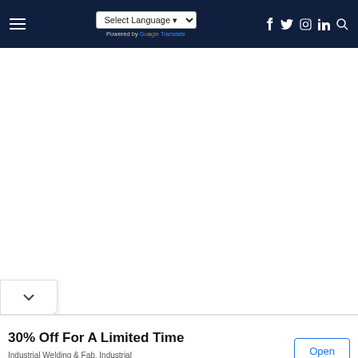Select Language [dropdown] | f tw ig in [search icon] | Powered by Google Translate
[Figure (screenshot): White empty content area below navigation bar]
[Figure (other): Chevron/collapse button tab at bottom left]
30% Off For A Limited Time
Industrial Welding & Fab. Industrial Electroplating HeyScottie
Open